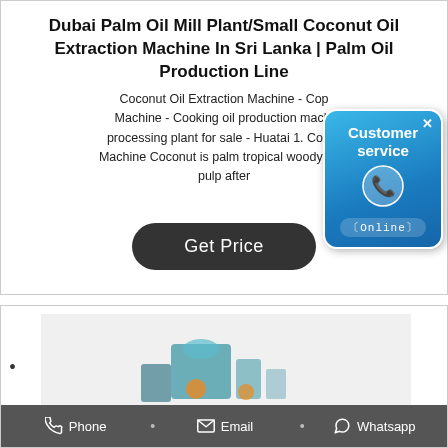Dubai Palm Oil Mill Plant/Small Coconut Oil Extraction Machine In Sri Lanka | Palm Oil Production Line
Coconut Oil Extraction Machine - Copra Machine - Cooking oil production machine processing plant for sale - Huatai 1. Copra Machine Coconut is palm tropical woody oil machine pulp after
[Figure (screenshot): Customer service popup widget with blue gradient background, phone icon, 'Customer service' text, and 'Online' status label]
Get Price
[Figure (photo): Photo of oil mill machine equipment, partially visible at bottom of page]
Phone • Email • Whatsapp